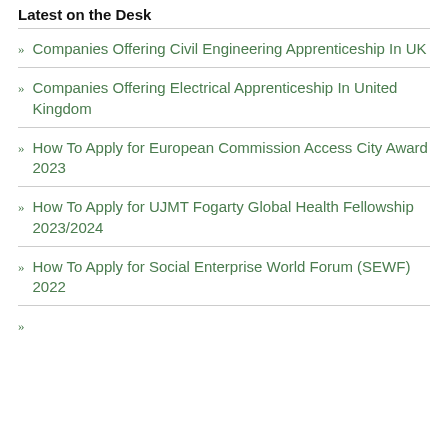Latest on the Desk
Companies Offering Civil Engineering Apprenticeship In UK
Companies Offering Electrical Apprenticeship In United Kingdom
How To Apply for European Commission Access City Award 2023
How To Apply for UJMT Fogarty Global Health Fellowship 2023/2024
How To Apply for Social Enterprise World Forum (SEWF) 2022